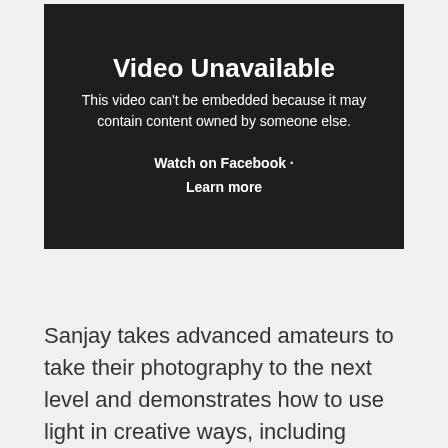[Figure (screenshot): Dark-background video unavailable message box with title 'Video Unavailable', subtitle text about embedding restrictions, and links 'Watch on Facebook' and 'Learn more']
Sanjay takes advanced amateurs to take their photography to the next level and demonstrates how to use light in creative ways, including ambient light. Sanjay takes you through some of his